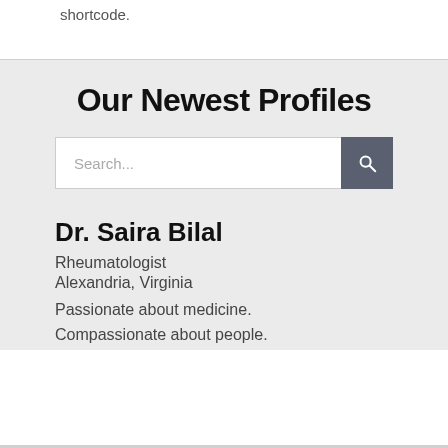shortcode.
Our Newest Profiles
[Figure (screenshot): Search input field with search button icon]
Dr. Saira Bilal
Rheumatologist
Alexandria, Virginia
Passionate about medicine. Compassionate about people.